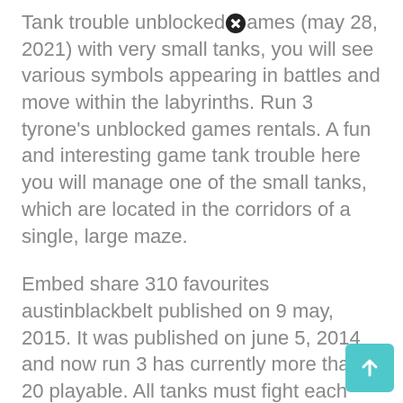Tank trouble unblocked games (may 28, 2021) with very small tanks, you will see various symbols appearing in battles and move within the labyrinths. Run 3 tyrone's unblocked games rentals. A fun and interesting game tank trouble here you will manage one of the small tanks, which are located in the corridors of a single, large maze.
Embed share 310 favourites austinblackbelt published on 9 may, 2015. It was published on june 5, 2014 and now run 3 has currently more than 20 playable. All tanks must fight each other and only one of them must survive and remain the winner.
At the beginning of the game you need to choose the number of players. The future roads pass through the buildings and the sky. Run 3